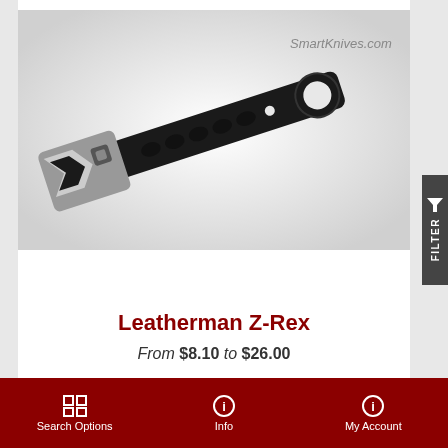[Figure (photo): Product photo of Leatherman Z-Rex multi-tool on white background. Black handle with ergonomic grip, metallic wrench/bottle-opener head on left, ring hole at right end. Watermark 'SmartKnives.com' in top-right of image.]
Leatherman Z-Rex
From $8.10  to $26.00
Search Options   Info   My Account